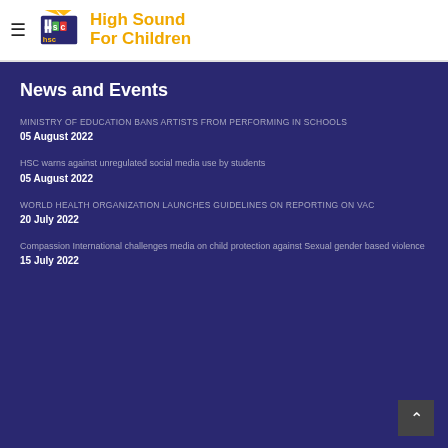High Sound For Children
News and Events
MINISTRY OF EDUCATION BANS ARTISTS FROM PERFORMING IN SCHOOLS
05 August 2022
HSC warns against unregulated social media use by students
05 August 2022
WORLD HEALTH ORGANIZATION LAUNCHES GUIDELINES ON REPORTING ON VAC
20 July 2022
Compassion International challenges media on child protection against Sexual gender based violence
15 July 2022